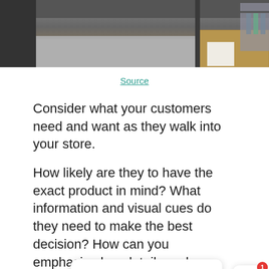[Figure (photo): Partial view of a retail store interior showing a concrete floor and clothing rack area]
Source
Consider what your customers need and want as they walk into your store.
How likely are they to have the exact product in mind? What information and visual cues do they need to make the best decision? How can you emphasize key details and benefits of products in your store with those needs in mind?
Seems like you're enjoying our blog content. Any questions?